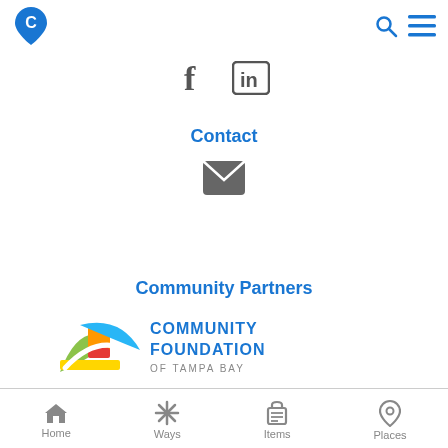Navigation header with logo, search and menu icons
[Figure (screenshot): Social media icons: Facebook (f) and LinkedIn (in) icons in gray]
Contact
[Figure (other): Email/envelope icon in gray]
Community Partners
[Figure (logo): Community Foundation of Tampa Bay logo with colorful abstract swoosh graphic]
Home  Ways  Items  Places